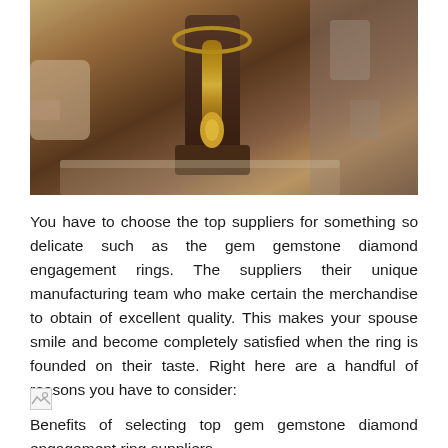[Figure (photo): A gold necklace displayed on a jewelry stand/bust in a jewelry store setting, with a person's hand visible and blurred background.]
You have to choose the top suppliers for something so delicate such as the gem gemstone diamond engagement rings. The suppliers their unique manufacturing team who make certain the merchandise to obtain of excellent quality. This makes your spouse smile and become completely satisfied when the ring is founded on their taste. Right here are a handful of reasons you have to consider:
[Figure (other): Broken/missing image placeholder]
Benefits of selecting top gem gemstone diamond engagement ring suppliers